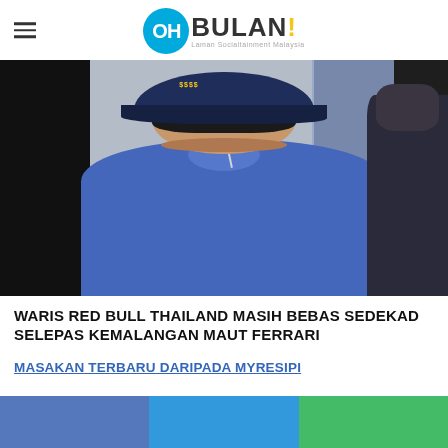OH BULAN! Laman Socialtainment Malaysia
[Figure (photo): Young man in blue polo shirt and dark navy cap with '$$$' text, looking downward, flanked by other people, indoors]
WARIS RED BULL THAILAND MASIH BEBAS SEDEKAD SELEPAS KEMALANGAN MAUT FERRARI
MASAKAN TERBARU DARIPADA MYRESIPI